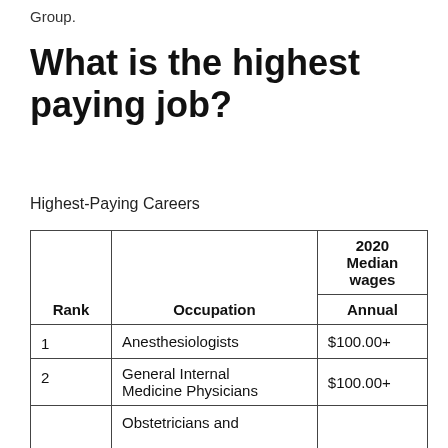Group.
What is the highest paying job?
Highest-Paying Careers
| Rank | Occupation | 2020 Median wages — Annual |
| --- | --- | --- |
| 1 | Anesthesiologists | $100.00+ |
| 2 | General Internal Medicine Physicians | $100.00+ |
| 3 | Obstetricians and |  |